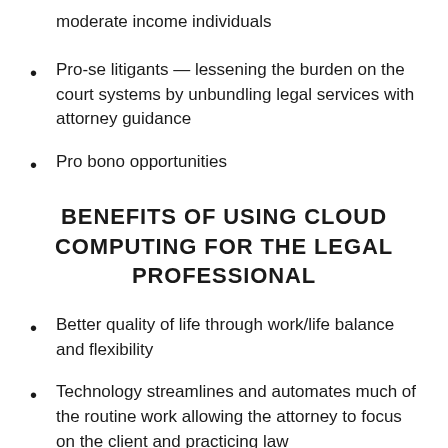moderate income individuals
Pro-se litigants — lessening the burden on the court systems by unbundling legal services with attorney guidance
Pro bono opportunities
BENEFITS OF USING CLOUD COMPUTING FOR THE LEGAL PROFESSIONAL
Better quality of life through work/life balance and flexibility
Technology streamlines and automates much of the routine work allowing the attorney to focus on the client and practicing law
Technology may help prevent malpractice through